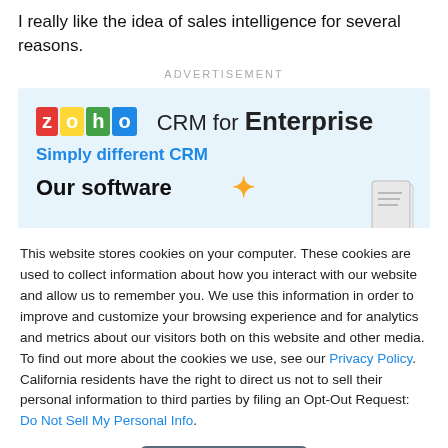I really like the idea of sales intelligence for several reasons.
ADVERTISEMENT
[Figure (screenshot): Zoho CRM for Enterprise advertisement banner with logo, tagline 'Simply different CRM' and partial text 'Our software']
This website stores cookies on your computer. These cookies are used to collect information about how you interact with our website and allow us to remember you. We use this information in order to improve and customize your browsing experience and for analytics and metrics about our visitors both on this website and other media. To find out more about the cookies we use, see our Privacy Policy. California residents have the right to direct us not to sell their personal information to third parties by filing an Opt-Out Request: Do Not Sell My Personal Info.
Accept